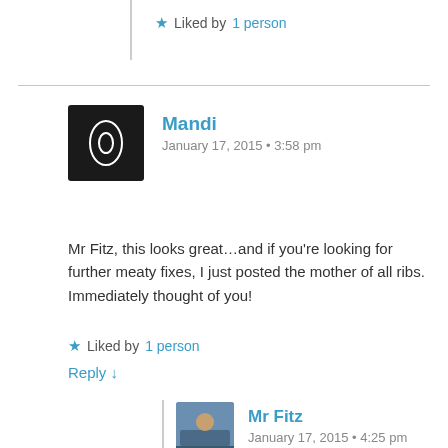★ Liked by 1 person
Mandi
January 17, 2015 • 3:58 pm
Mr Fitz, this looks great…and if you're looking for further meaty fixes, I just posted the mother of all ribs. Immediately thought of you!
★ Liked by 1 person
Reply ↓
Mr Fitz
January 17, 2015 • 4:25 pm
Hmmm.. gotta check them out!
★ Like
Reply ↓